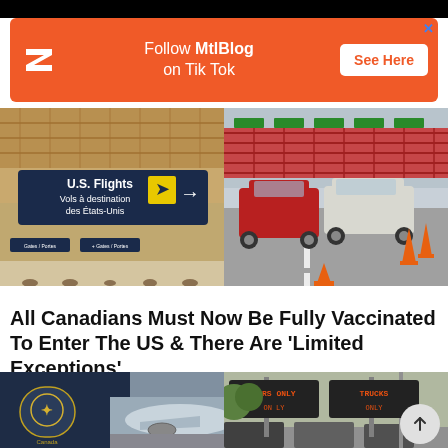[Figure (other): MtlBlog TikTok advertisement banner with orange background, Z logo, text 'Follow MtlBlog on Tik Tok', and 'See Here' button]
[Figure (photo): Two side-by-side photos: left shows airport interior with U.S. Flights / Vols à destination des États-Unis sign; right shows cars lined up at a border crossing]
All Canadians Must Now Be Fully Vaccinated To Enter The US & There Are 'Limited Exceptions'
[Figure (photo): Two side-by-side photos: left shows CBSA officer shoulder patch with airplane in background; right shows electronic border crossing signs reading CARS ONLY and TRUCKS ONLY]